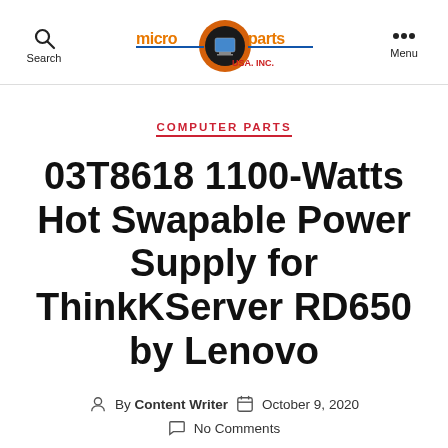microparts USA, INC. — Search | Menu
COMPUTER PARTS
03T8618 1100-Watts Hot Swapable Power Supply for ThinkKServer RD650 by Lenovo
By Content Writer   October 9, 2020   No Comments